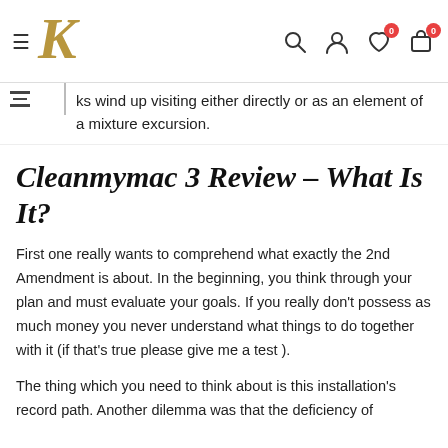K [logo] — navigation bar with hamburger menu, search, user, wishlist (0), cart (0)
ks wind up visiting either directly or as an element of a mixture excursion.
Cleanmymac 3 Review – What Is It?
First one really wants to comprehend what exactly the 2nd Amendment is about. In the beginning, you think through your plan and must evaluate your goals. If you really don't possess as much money you never understand what things to do together with it (if that's true please give me a test ).
The thing which you need to think about is this installation's record path. Another dilemma was that the deficiency of